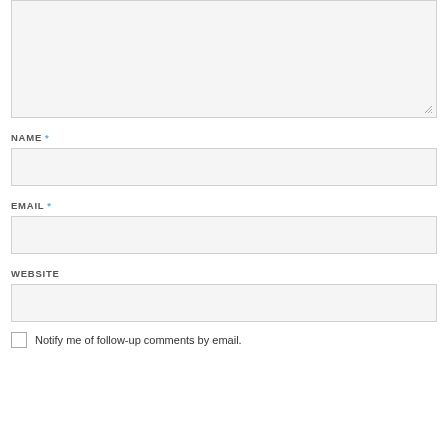[Figure (screenshot): Textarea input box (comment field) with resize handle at bottom right]
NAME *
[Figure (screenshot): Name text input field, empty, light gray background]
EMAIL *
[Figure (screenshot): Email text input field, empty, light gray background]
WEBSITE
[Figure (screenshot): Website text input field, empty, light gray background]
Notify me of follow-up comments by email.